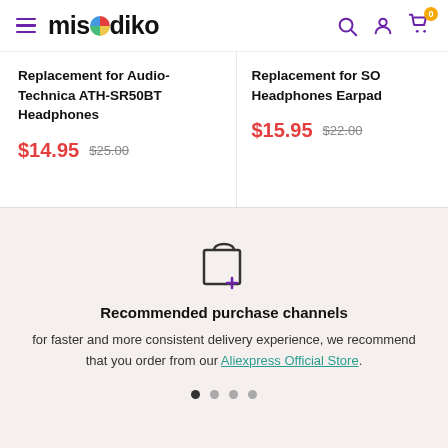misodiko — navigation header with hamburger menu, search, account, and cart icons
Replacement for Audio-Technica ATH-SR50BT Headphones — $14.95 (was $25.00)
Replacement for SO... Headphones Earpad... — $15.95 (was $22.00)
[Figure (illustration): Shopping bag icon with a plus sign]
Recommended purchase channels
for faster and more consistent delivery experience, we recommend that you order from our Aliexpress Official Store.